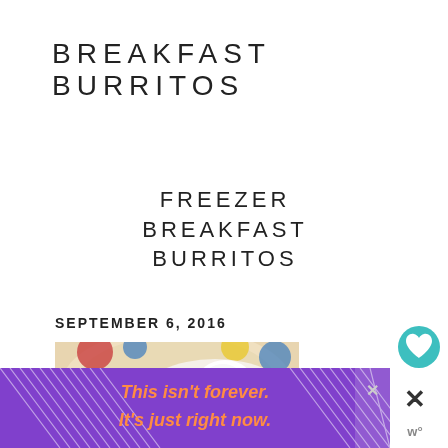BREAKFAST BURRITOS
FREEZER BREAKFAST BURRITOS
SEPTEMBER 6, 2016
[Figure (photo): A breakfast burrito filled with scrambled eggs, potatoes, and bacon served on a colorful decorative plate]
[Figure (infographic): Heart/like button icon (teal circle with white heart) showing count of 1, and a share button below it]
[Figure (infographic): Purple advertisement banner with diagonal line decorations. Text reads: This isn't forever. It's just right now. With a close X button and wordmark logo.]